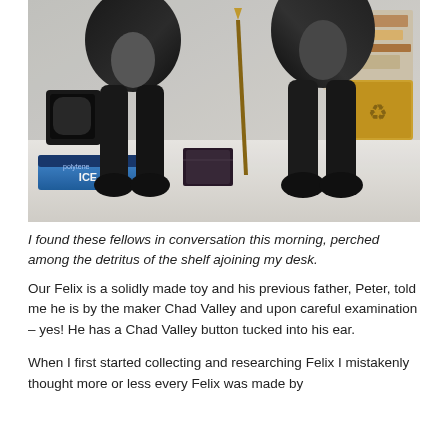[Figure (photo): Close-up photo of two black stuffed toy animals (Felix the Cat toys) standing on a cluttered desk shelf. Various items visible including a blue ICE-labeled box, a small dark box, books, and papers in the background.]
I found these fellows in conversation this morning, perched among the detritus of the shelf ajoining my desk.
Our Felix is a solidly made toy and his previous father, Peter, told me he is by the maker Chad Valley and upon careful examination – yes! He has a Chad Valley button tucked into his ear.
When I first started collecting and researching Felix I mistakenly thought more or less every Felix was made by